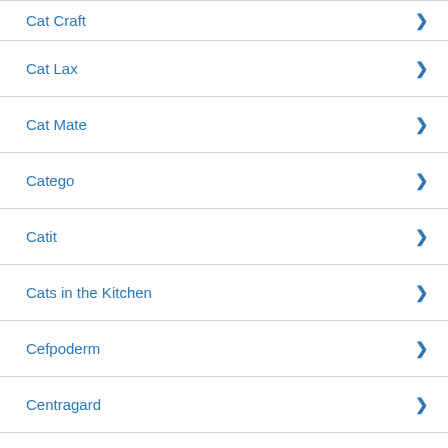Cat Craft
Cat Lax
Cat Mate
Catego
Catit
Cats in the Kitchen
Cefpoderm
Centragard